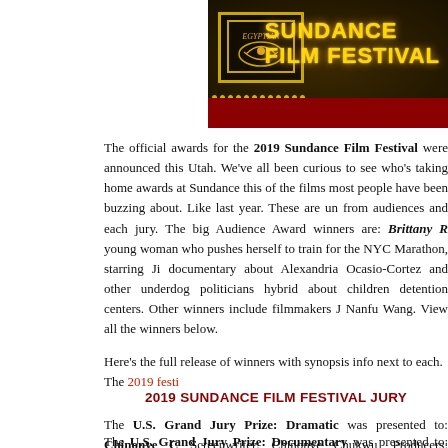[Figure (photo): Sundance Film Festival theater marquee sign with golden lights on dark background, showing 'SUNDANCE FILM FESTIVAL' text in large yellow letters]
The official awards for the 2019 Sundance Film Festival were announced this Utah. We've all been curious to see who's taking home awards at Sundance this of the films most people have been buzzing about. Like last year. These are un from audiences and each jury. The big Audience Award winners are: Brittany R young woman who pushes herself to train for the NYC Marathon, starring Ji documentary about Alexandria Ocasio-Cortez and other underdog politicians hybrid about children detention centers. Other winners include filmmakers J Nanfu Wang. View all the winners below.
Here's the full release of winners with synopsis info next to each. The 2019 festi
2019 SUNDANCE FILM FESTIVAL JURY
The U.S. Grand Jury Prize: Dramatic was presented to: Chinonye C Screenwriter: Chinonye Chukwu, Producers: Bronwyn Cornelius, Julian Cauthe — Years of carrying out death row executions have taken a toll on prison warde to execute another inmate, Bernadine must confront the psychological and ultimately connecting her to the man she is sanctioned to kill. Cast: Alfre W Wendell Pierce, Richard Gunn, Danielle Brooks.
The U.S. Grand Jury Prize: Documentary was presented to: Nanfu Wang and